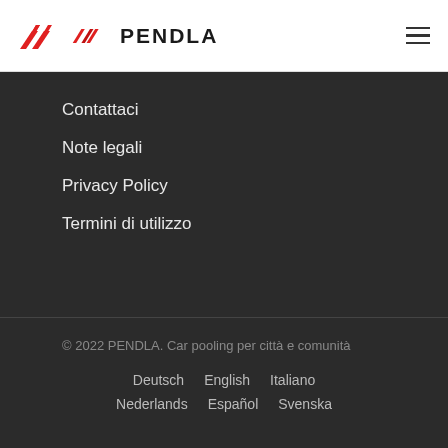PENDLA
Contattaci
Note legali
Privacy Policy
Termini di utilizzo
© 2022 PENDLA. Car pooling per città e comunità
Deutsch   English   Italiano   Nederlands   Español   Svenska